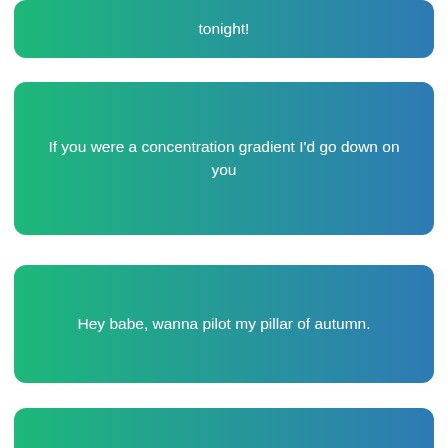tonight!
If you were a concentration gradient I'd go down on you
Hey babe, wanna pilot my pillar of autumn.
Do you have 11 protons? Because you're sodium fine!